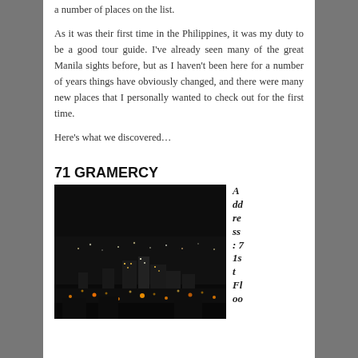a number of places on the list.
As it was their first time in the Philippines, it was my duty to be a good tour guide. I've already seen many of the great Manila sights before, but as I haven't been here for a number of years things have obviously changed, and there were many new places that I personally wanted to check out for the first time.
Here’s what we discovered…
71 GRAMERCY
[Figure (photo): Aerial night view of Manila city skyline with city lights spread across the landscape, taken from a high vantage point.]
Address: 71st Fl oo